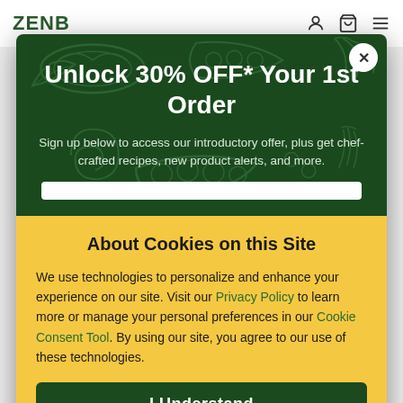ZENB
[Figure (screenshot): Dark green modal popup with vegetable illustrations in background. Contains promotional offer and close button.]
Unlock 30% OFF* Your 1st Order
Sign up below to access our introductory offer, plus get chef-crafted recipes, new product alerts, and more.
About Cookies on this Site
We use technologies to personalize and enhance your experience on our site. Visit our Privacy Policy to learn more or manage your personal preferences in our Cookie Consent Tool. By using our site, you agree to our use of these technologies.
I Understand